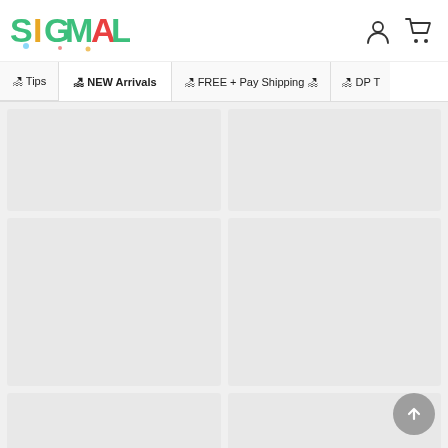[Figure (logo): Sigmall colorful summer-themed logo with beach characters]
[Figure (illustration): User account icon and shopping cart icon in header]
🏖 Tips
🏖 NEW Arrivals
🏖 FREE + Pay Shipping 🏖
🏖 DP T
[Figure (photo): Product card placeholder 1 (short)]
[Figure (photo): Product card placeholder 2 (short)]
[Figure (photo): Product card placeholder 3 (tall)]
[Figure (photo): Product card placeholder 4 (tall)]
[Figure (photo): Product card placeholder 5 (partial)]
[Figure (photo): Product card placeholder 6 (partial)]